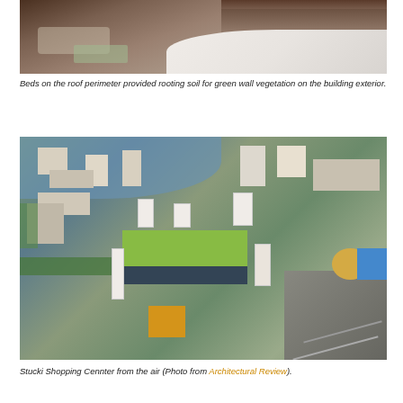[Figure (photo): Close-up photo of roof perimeter showing soil/gravel beds at the base of a curved white wall structure, with dirt and vegetation substrate visible.]
Beds on the roof perimeter provided rooting soil for green wall vegetation on the building exterior.
[Figure (photo): Aerial photograph of the Stucki Shopping Center and surrounding urban area, showing a large building with a green roof visible among city blocks, a river in the background, and railway tracks in the foreground.]
Stucki Shopping Cennter from the air (Photo from Architectural Review).